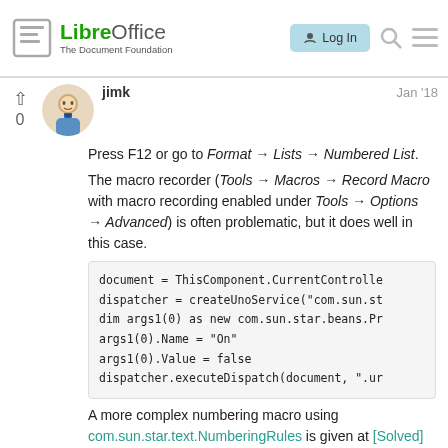LibreOffice – The Document Foundation | Log In
jimk  Jan '18
Press F12 or go to Format → Lists → Numbered List.
The macro recorder (Tools → Macros → Record Macro with macro recording enabled under Tools → Options → Advanced) is often problematic, but it does well in this case.
document = ThisComponent.CurrentController
dispatcher = createUnoService("com.sun.st
dim args1(0) as new com.sun.star.beans.Pr
args1(0).Name = "On"
args1(0).Value = false
dispatcher.executeDispatch(document, ".ur
A more complex numbering macro using com.sun.star.text.NumberingRules is given at [Solved]